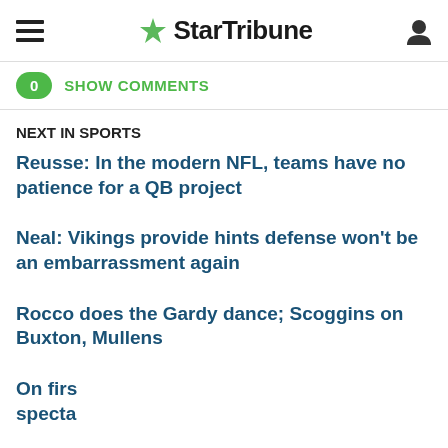StarTribune
0  SHOW COMMENTS
NEXT IN SPORTS
Reusse: In the modern NFL, teams have no patience for a QB project
Neal: Vikings provide hints defense won't be an embarrassment again
Rocco does the Gardy dance; Scoggins on Buxton, Mullens
On firs... ...tly a specta...